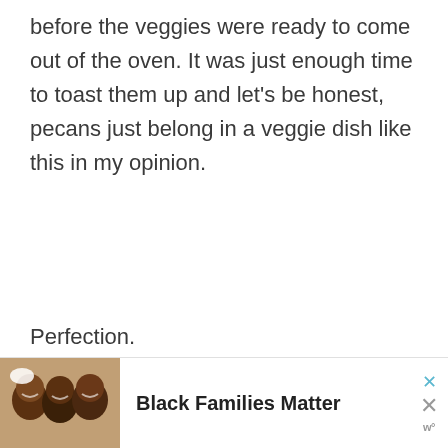before the veggies were ready to come out of the oven. It was just enough time to toast them up and let's be honest, pecans just belong in a veggie dish like this in my opinion.
Perfection.
[Figure (photo): Advertisement banner at the bottom of the page showing a photo of smiling people with text 'Black Families Matter' and close buttons.]